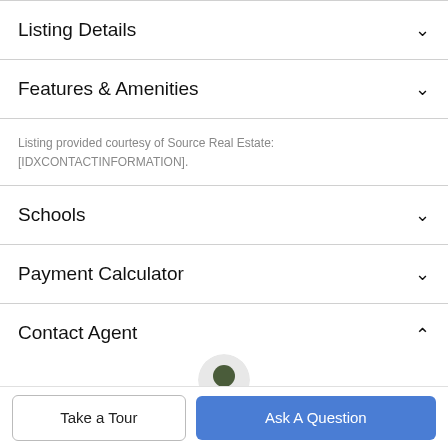Listing Details
Features & Amenities
Listing provided courtesy of Source Real Estate: [IDXCONTACTINFORMATION].
Schools
Payment Calculator
Contact Agent
Take a Tour
Ask A Question